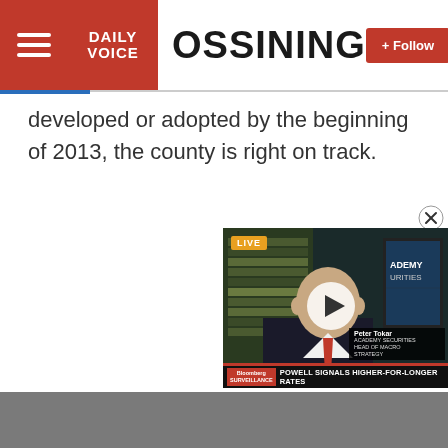Daily Voice — OSSINING
developed or adopted by the beginning of 2013, the county is right on track.
[Figure (screenshot): Embedded Bloomberg TV video player showing a live broadcast with 'POWELL SIGNALS HIGHER-FOR-LONGER RATES' ticker. A bald man in a suit with a red tie (Peter Tokar, Academy Securities Head of Macro Strategy) is visible. A white play button triangle is overlaid. A LIVE badge in orange is in the top-left corner. Bloomberg logo and red strip appear at the bottom.]